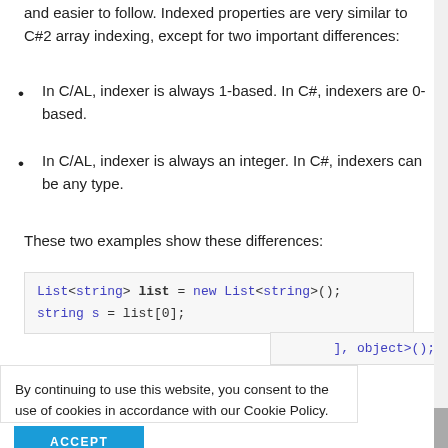and easier to follow. Indexed properties are very similar to C#2 array indexing, except for two important differences:
In C/AL, indexer is always 1-based. In C#, indexers are 0-based.
In C/AL, indexer is always an integer. In C#, indexers can be any type.
These two examples show these differences:
[Figure (screenshot): Code block showing: List<string> list = new List<string>(); string s = list[0];]
[Figure (screenshot): Partial code snippet showing: ], object>();]
By continuing to use this website, you consent to the use of cookies in accordance with our Cookie Policy.
[Figure (other): ACCEPT button in blue]